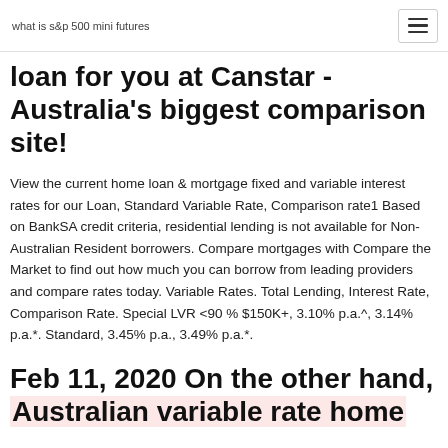what is s&p 500 mini futures
loan for you at Canstar - Australia's biggest comparison site!
View the current home loan & mortgage fixed and variable interest rates for our Loan, Standard Variable Rate, Comparison rate1 Based on BankSA credit criteria, residential lending is not available for Non-Australian Resident borrowers. Compare mortgages with Compare the Market to find out how much you can borrow from leading providers and compare rates today. Variable Rates. Total Lending, Interest Rate, Comparison Rate. Special LVR <90 % $150K+, 3.10% p.a.^, 3.14% p.a.*. Standard, 3.45% p.a., 3.49% p.a.*.
Feb 11, 2020 On the other hand, Australian variable rate home